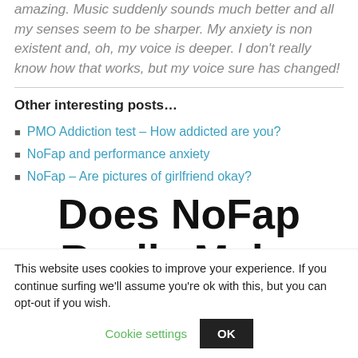amazing. Music suddenly sounds much better and all my senses seem to be sharper. My anxiety is non existent and, oh, my voice is deeper. I don't really know how that works, but my voice sure has changed!
Other interesting posts…
PMO Addiction test – How addicted are you?
NoFap and performance anxiety
NoFap – Are pictures of girlfriend okay?
Does NoFap Really Make
This website uses cookies to improve your experience. If you continue surfing we'll assume you're ok with this, but you can opt-out if you wish.
Cookie settings
OK